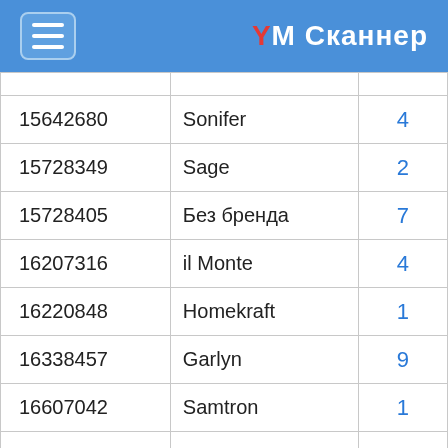YM Сканнер
|  |  |  |
| --- | --- | --- |
| 15642680 | Sonifer | 4 |
| 15728349 | Sage | 2 |
| 15728405 | Без бренда | 7 |
| 16207316 | il Monte | 4 |
| 16220848 | Homekraft | 1 |
| 16338457 | Garlyn | 9 |
| 16607042 | Samtron | 1 |
| 16750499 | MARKETHOT | 2 |